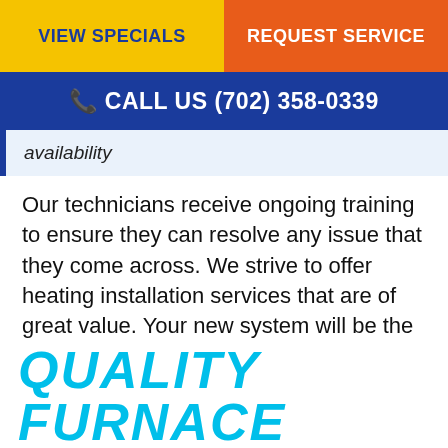VIEW SPECIALS | REQUEST SERVICE
CALL US (702) 358-0339
availability
Our technicians receive ongoing training to ensure they can resolve any issue that they come across. We strive to offer heating installation services that are of great value. Your new system will be the perfect size to meet any of your heating needs without wasting extra energy.
We are online!
QUALITY FURNACE